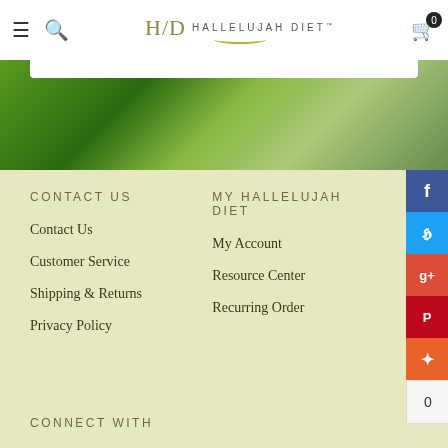Hallelujah Diet - navigation header with hamburger menu, search, logo, cart
[Figure (photo): Hero image showing green leafy herbs/mint with blurred background]
CONTACT US
Contact Us
Customer Service
Shipping & Returns
Privacy Policy
MY HALLELUJAH DIET
My Account
Resource Center
Recurring Order
CONNECT WITH